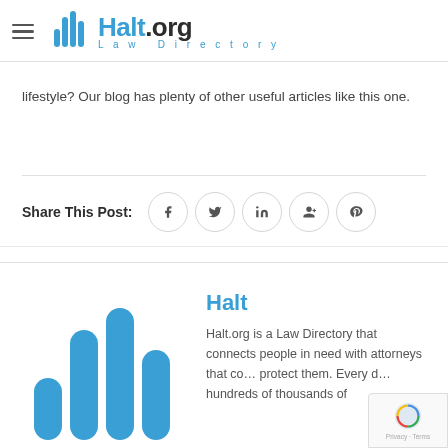Halt.org Law Directory
lifestyle? Our blog has plenty of other useful articles like this one.
Share This Post:
[Figure (logo): Halt.org Law Directory logo with bar chart icon and descriptive text]
Halt
Halt.org is a Law Directory that connects people in need with attorneys that co... protect them. Every d... hundreds of thousands of...